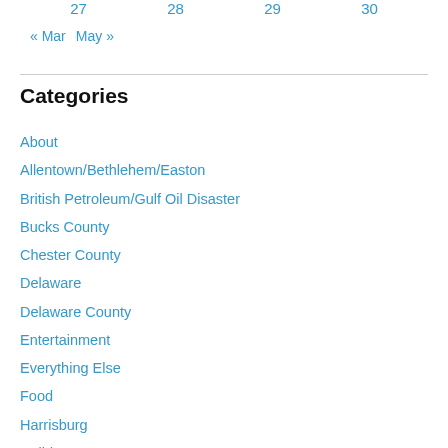27   28   29   30
« Mar   May »
Categories
About
Allentown/Bethlehem/Easton
British Petroleum/Gulf Oil Disaster
Bucks County
Chester County
Delaware
Delaware County
Entertainment
Everything Else
Food
Harrisburg
Holidays
Humor
Lancaster